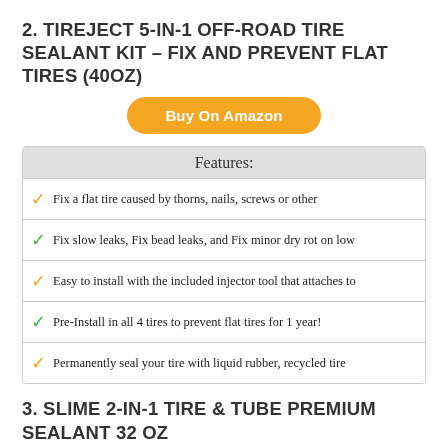2. TIREJECT 5-IN-1 OFF-ROAD TIRE SEALANT KIT – FIX AND PREVENT FLAT TIRES (40OZ)
[Figure (other): Orange rounded button labeled 'Buy On Amazon']
| Features: |
| --- |
| Fix a flat tire caused by thorns, nails, screws or other |
| Fix slow leaks, Fix bead leaks, and Fix minor dry rot on low |
| Easy to install with the included injector tool that attaches to |
| Pre-Install in all 4 tires to prevent flat tires for 1 year! |
| Permanently seal your tire with liquid rubber, recycled tire |
3. SLIME 2-IN-1 TIRE & TUBE PREMIUM SEALANT 32 OZ